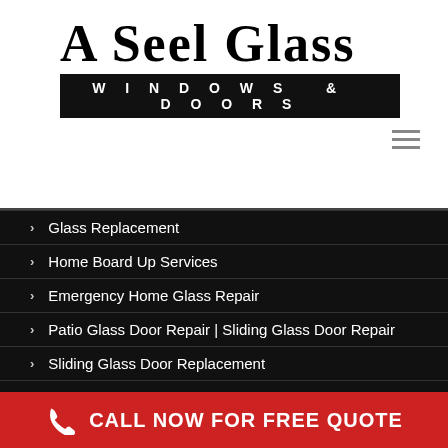[Figure (logo): A Seel Glass Windows & Doors company logo with large serif text and black banner subtitle]
Glass Replacement
Home Board Up Services
Emergency Home Glass Repair
Patio Glass Door Repair | Sliding Glass Door Repair
Sliding Glass Door Replacement
Sliding Glass Door Repair
CALL NOW FOR FREE QUOTE